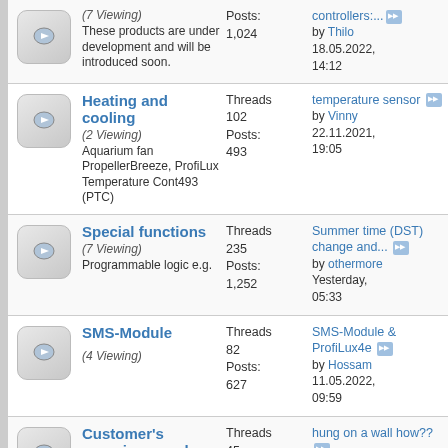(7 Viewing) These products are under development and will be introduced soon. Posts: 1,024 | controllers:... by Thilo 18.05.2022, 14:12
Heating and cooling (2 Viewing) Aquarium fan PropellerBreeze, ProfiLux Temperature Cont493 (PTC) Threads 102 Posts: 493 | temperature sensor by Vinny 22.11.2021, 19:05
Special functions (7 Viewing) Programmable logic e.g. Threads 235 Posts: 1,252 | Summer time (DST) change and... by othermore Yesterday, 05:33
SMS-Module (4 Viewing) Threads 82 Posts: 627 | SMS-Module & ProfiLux4e by Hossam 11.05.2022, 09:59
Customer's aquariums and terrariums (3 Viewing) ProfiLux users can present here their aquarium or Threads 45 Posts: 353 | hung on a wall how?? by Mistahbrock 28.09.2018,